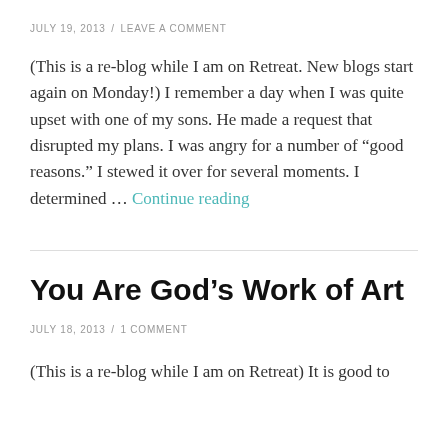JULY 19, 2013 / LEAVE A COMMENT
(This is a re-blog while I am on Retreat. New blogs start again on Monday!) I remember a day when I was quite upset with one of my sons. He made a request that disrupted my plans. I was angry for a number of “good reasons.” I stewed it over for several moments. I determined … Continue reading
You Are God’s Work of Art
JULY 18, 2013 / 1 COMMENT
(This is a re-blog while I am on Retreat) It is good to